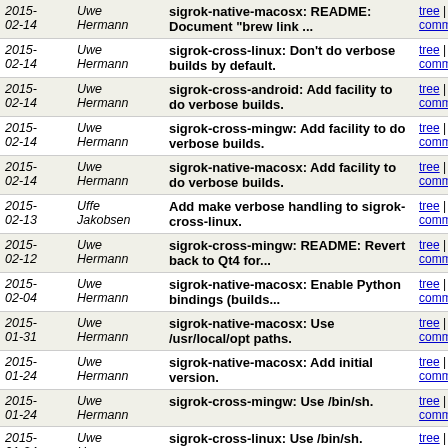| Date | Author | Message | Links |
| --- | --- | --- | --- |
| 2015-02-14 | Uwe Hermann | sigrok-native-macosx: README: Document "brew link ... | tree | commitdiff |
| 2015-02-14 | Uwe Hermann | sigrok-cross-linux: Don't do verbose builds by default. | tree | commitdiff |
| 2015-02-14 | Uwe Hermann | sigrok-cross-android: Add facility to do verbose builds. | tree | commitdiff |
| 2015-02-14 | Uwe Hermann | sigrok-cross-mingw: Add facility to do verbose builds. | tree | commitdiff |
| 2015-02-14 | Uwe Hermann | sigrok-native-macosx: Add facility to do verbose builds. | tree | commitdiff |
| 2015-02-13 | Uffe Jakobsen | Add make verbose handling to sigrok-cross-linux. | tree | commitdiff |
| 2015-02-12 | Uwe Hermann | sigrok-cross-mingw: README: Revert back to Qt4 for... | tree | commitdiff |
| 2015-02-04 | Uwe Hermann | sigrok-native-macosx: Enable Python bindings (builds... | tree | commitdiff |
| 2015-01-31 | Uwe Hermann | sigrok-native-macosx: Use /usr/local/opt paths. | tree | commitdiff |
| 2015-01-24 | Uwe Hermann | sigrok-native-macosx: Add initial version. | tree | commitdiff |
| 2015-01-24 | Uwe Hermann | sigrok-cross-mingw: Use /bin/sh. | tree | commitdiff |
| 2015-01-24 | Uwe Hermann | sigrok-cross-linux: Use /bin/sh. | tree | commitdiff |
| 2015-01-19 | Marcus Comstedt | sigrok-cross-android: Bump Boost version to 1.57 | tree | commitdiff |
| 2015- | Uwe | sigrok-cross-android: Bump | tree | commitdiff |